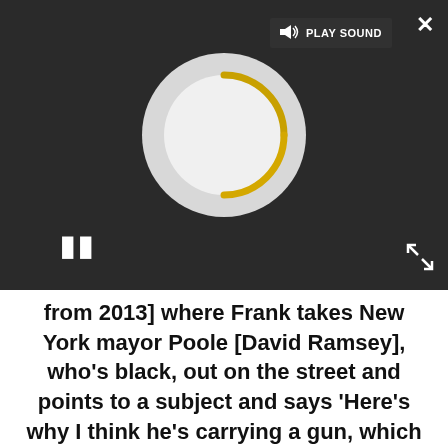[Figure (screenshot): A dark video player UI showing a circular loading/spinner graphic in gold and light gray, a pause button (two vertical bars) on the lower left, a 'PLAY SOUND' button with speaker icon at the top, a close (X) button at top right, and an expand/fullscreen button at bottom right.]
from 2013] where Frank takes New York mayor Poole [David Ramsey], who's black, out on the street and points to a subject and says 'Here's why I think he's carrying a gun, which is illegal, and why he should be stopped and questioned'; Frank wouldn't say frisked. But he also says that any officer who